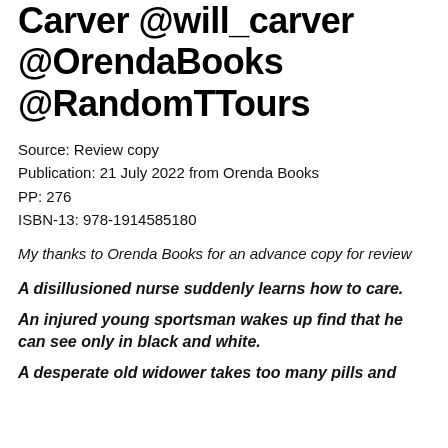Carver @will_carver @OrendaBooks @RandomTTours
Source: Review copy
Publication: 21 July 2022 from Orenda Books
PP: 276
ISBN-13: 978-1914585180
My thanks to Orenda Books for an advance copy for review
A disillusioned nurse suddenly learns how to care.
An injured young sportsman wakes up find that he can see only in black and white.
A desperate old widower takes too many pills and